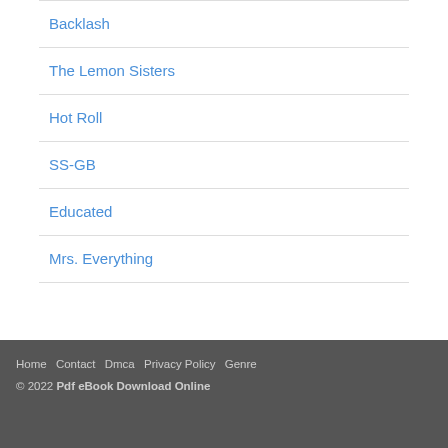Backlash
The Lemon Sisters
Hot Roll
SS-GB
Educated
Mrs. Everything
Home  Contact  Dmca  Privacy Policy  Genre
© 2022 Pdf eBook Download Online